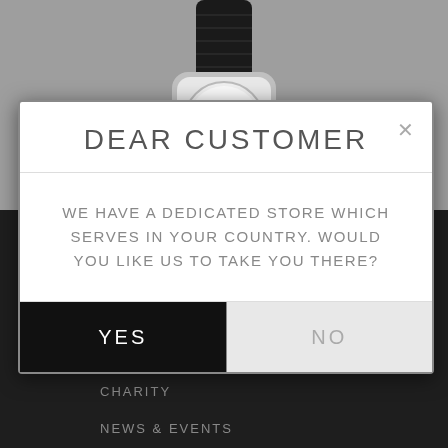[Figure (photo): Partial view of a wristwatch with black leather strap, shown from above on a grey background]
DEAR CUSTOMER
WE HAVE A DEDICATED STORE WHICH SERVES IN YOUR COUNTRY. WOULD YOU LIKE US TO TAKE YOU THERE?
YES
NO
OUR MANUFACTURE
OUR SMARTWATCH
OUR VALUES
PRESS ACCESS
CHARITY
NEWS & EVENTS